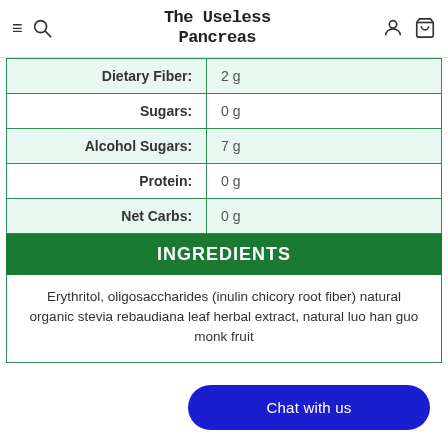The Useless Pancreas
| Nutrient | Amount |
| --- | --- |
| Dietary Fiber: | 2 g |
| Sugars: | 0 g |
| Alcohol Sugars: | 7 g |
| Protein: | 0 g |
| Net Carbs: | 0 g |
INGREDIENTS
Erythritol, oligosaccharides (inulin chicory root fiber) natural organic stevia rebaudiana leaf herbal extract, natural luo han guo monk fruit